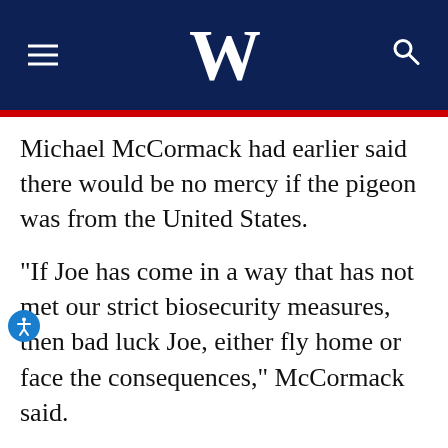W
Michael McCormack had earlier said there would be no mercy if the pigeon was from the United States.
“If Joe has come in a way that has not met our strict biosecurity measures, then bad luck Joe, either fly home or face the consequences,” McCormack said.
Martin Foley, health minister for Victoria state where Joe is living, had called for the federal